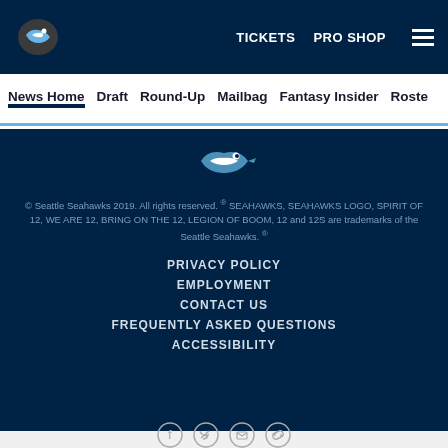TICKETS  PRO SHOP
News Home  Draft  Round-Up  Mailbag  Fantasy Insider  Roster
[Figure (logo): Seattle Seahawks logo in footer]
© Seattle Seahawks 2019. All rights reserved. ® SEAHAWKS, SEAHAWKS LOGO, SPIRIT OF 12, WE ARE 12, BRING ON THE 12, LEGION OF BOOM, 12 and 12S are trademarks of the Seattle Seahawks. ®
PRIVACY POLICY
EMPLOYMENT
CONTACT US
FREQUENTLY ASKED QUESTIONS
ACCESSIBILITY
[Figure (other): Social share icons: Facebook, Twitter, Email, Link]